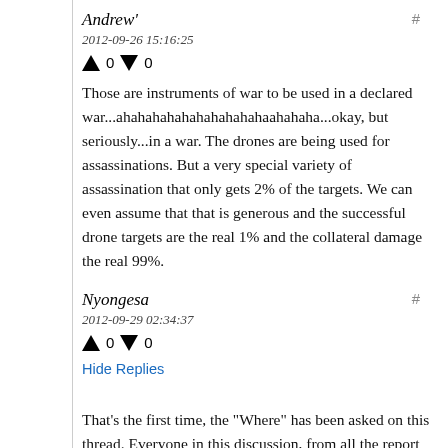Andrew'
2012-09-26 15:16:25
Those are instruments of war to be used in a declared war...ahahahahahahahahahahaahahaha...okay, but seriously...in a war. The drones are being used for assassinations. But a very special variety of assassination that only gets 2% of the targets. We can even assume that that is generous and the successful drone targets are the real 1% and the collateral damage the real 99%.
Nyongesa
2012-09-29 02:34:37
Hide Replies
That's the first time, the "Where" has been asked on this thread. Everyone in this discussion, from all the report researchers, to the tyrants on the BBC, and most of the